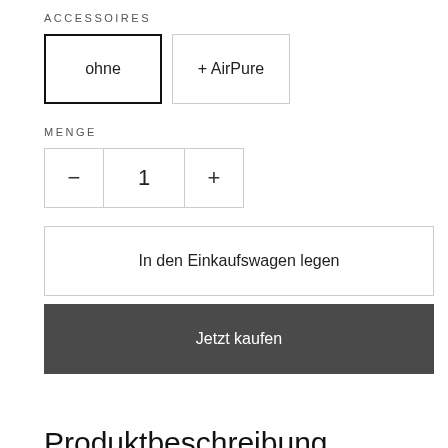ACCESSOIRES
ohne
+ AirPure
MENGE
- 1 +
In den Einkaufswagen legen
Jetzt kaufen
Produktbeschreibung